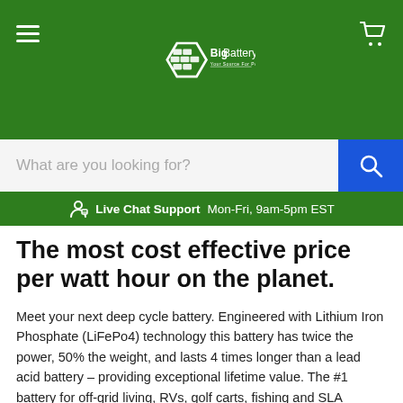[Figure (logo): BigBattery.ca logo with hexagon battery icon and tagline 'Your Source For Power' on green header background. Hamburger menu icon on left, cart icon on right.]
What are you looking for?
Live Chat Support  Mon-Fri, 9am-5pm EST
The most cost effective price per watt hour on the planet.
Meet your next deep cycle battery. Engineered with Lithium Iron Phosphate (LiFePo4) technology this battery has twice the power, 50% the weight, and lasts 4 times longer than a lead acid battery – providing exceptional lifetime value. The #1 battery for off-grid living, RVs, golf carts, fishing and SLA replacement.